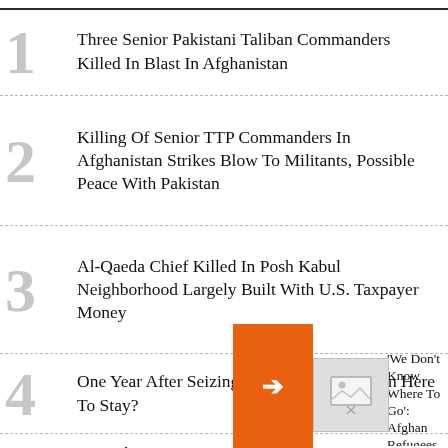1 Three Senior Pakistani Taliban Commanders Killed In Blast In Afghanistan
2 Killing Of Senior TTP Commanders In Afghanistan Strikes Blow To Militants, Possible Peace With Pakistan
3 Al-Qaeda Chief Killed In Posh Kabul Neighborhood Largely Built With U.S. Taxpayer Money
4 One Year After Seizing Power, Is The Taliban Here To Stay?
5 As Figh... Of Tali...
'We Don't Know Where To Go': Afghan Refugees Forcibly Deported From Tajikistan